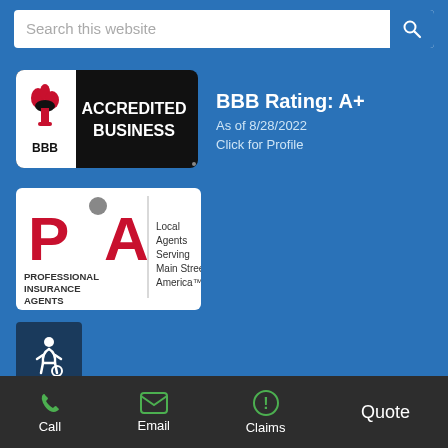[Figure (screenshot): Search bar with placeholder text 'Search this website' and a blue search button with magnifying glass icon]
[Figure (logo): BBB Accredited Business logo - black background with flame icon and 'ACCREDITED BUSINESS BBB' text]
BBB Rating: A+
As of 8/28/2022
Click for Profile
[Figure (logo): PIA Professional Insurance Agents logo with text 'Local Agents Serving Main Street America']
[Figure (illustration): Accessibility wheelchair icon in dark blue box]
Connect With Us
[Figure (infographic): Social media icons in white circles: Facebook, Instagram, LinkedIn, Pinterest, Twitter, YouTube, Yelp]
Call  Email  Claims  Quote